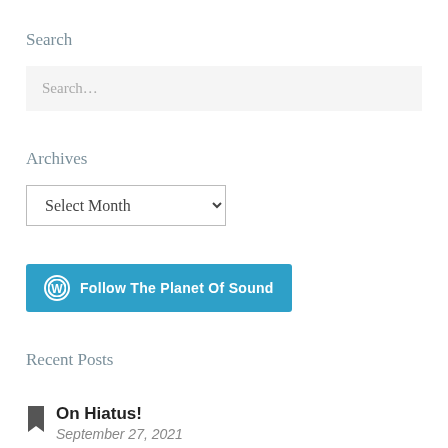Search
Search…
Archives
Select Month
[Figure (other): Follow The Planet Of Sound button with WordPress logo icon, teal/blue background]
Recent Posts
On Hiatus! — September 27, 2021